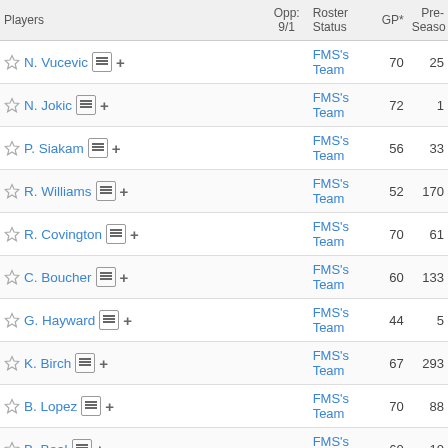| Players |  |  | Opp: 9/1 | Roster Status | GP* | Pre-Season |
| --- | --- | --- | --- | --- | --- | --- |
| N. Vucevic | ≡ | + |  | FMS's Team | 70 | 25 |
| N. Jokic | ≡ | + |  | FMS's Team | 72 | 1 |
| P. Siakam | ≡ | + |  | FMS's Team | 56 | 33 |
| R. Williams | ≡ | + |  | FMS's Team | 52 | 170 |
| R. Covington | ≡ | + |  | FMS's Team | 70 | 61 |
| C. Boucher | ≡ | + |  | FMS's Team | 60 | 133 |
| G. Hayward | ≡ | + |  | FMS's Team | 44 | 5 |
| K. Birch | ≡ | + |  | FMS's Team | 67 | 293 |
| B. Lopez | ≡ | + |  | FMS's Team | 70 | 88 |
| B. Beal | ≡ | + |  | FMS's Team | 60 | 10 |
| D. DeRozan | ≡ | + |  | FMS's Team | 61 | 51 |
| D. Gallinari | ≡ | + |  | FMS's Team | 51 | 83 |
| B. Bogdanovic | ≡ | + |  | FMS's Team | 44 | 100 |